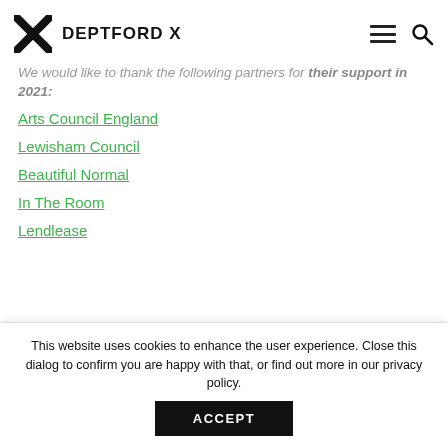DEPTFORD X
We would like to thank the following partners for their support in 2021:
Arts Council England
Lewisham Council
Beautiful Normal
In The Room
Lendlease
This website uses cookies to enhance the user experience. Close this dialog to confirm you are happy with that, or find out more in our privacy policy. ACCEPT